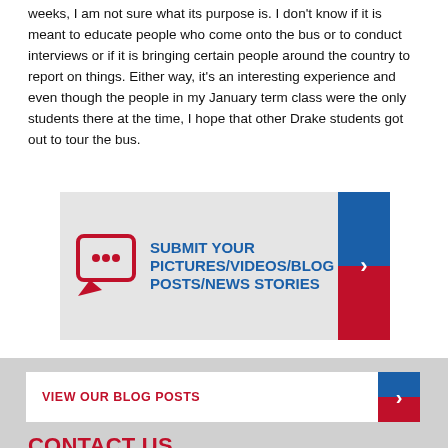weeks, I am not sure what its purpose is. I don't know if it is meant to educate people who come onto the bus or to conduct interviews or if it is bringing certain people around the country to report on things. Either way, it's an interesting experience and even though the people in my January term class were the only students there at the time, I hope that other Drake students got out to tour the bus.
[Figure (infographic): Submit your pictures/videos/blog posts/news stories banner with speech bubble icon and blue/red arrow button]
[Figure (infographic): View our blog posts bar with blue/red arrow button]
CONTACT US
IOWA CAUCUS PROJECT
2507 University Avenue, Des Moines, IA 50311